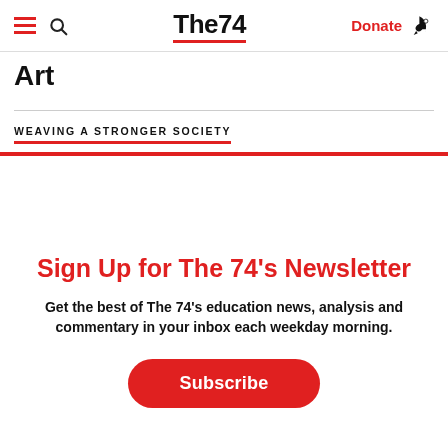The74 — Donate
Art
WEAVING A STRONGER SOCIETY
Sign Up for The 74's Newsletter
Get the best of The 74's education news, analysis and commentary in your inbox each weekday morning.
Subscribe